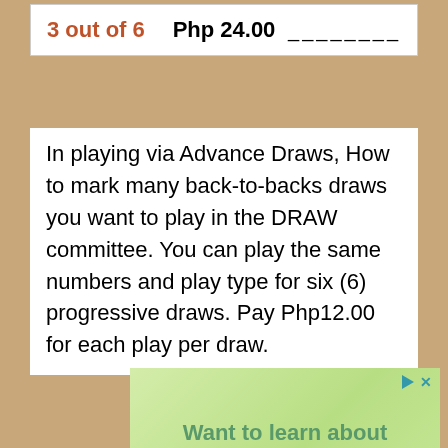| 3 out of 6 | Php 24.00 | ________ |
In playing via Advance Draws, How to mark many back-to-backs draws you want to play in the DRAW committee. You can play the same numbers and play type for six (6) progressive draws. Pay Php12.00 for each play per draw.
[Figure (other): Advertisement banner with green gradient background showing text 'Want to learn about your ancestors without giving a pint' with play and close controls]